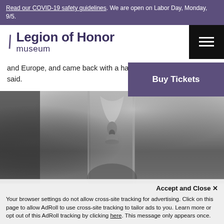Read our COVID-19 safety guidelines. We are open on Labor Day, Monday, 9/5.
Legion of Honor museum
and Europe, and came back with a handful of important d… said.
[Figure (photo): Black and white close-up photograph of an ornate decorative object or architectural detail, possibly a chandelier or trophy, with blurred background.]
Accept and Close ×
Your browser settings do not allow cross-site tracking for advertising. Click on this page to allow AdRoll to use cross-site tracking to tailor ads to you. Learn more or opt out of this AdRoll tracking by clicking here. This message only appears once.